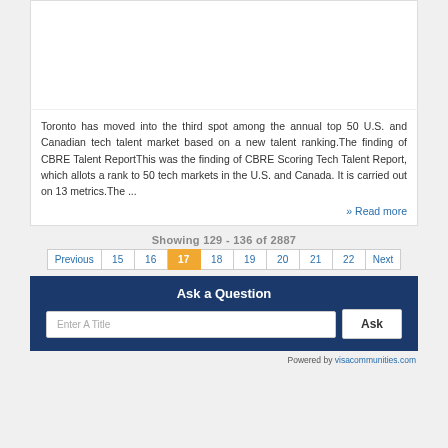[Figure (other): White image area at top of article card]
Toronto has moved into the third spot among the annual top 50 U.S. and Canadian tech talent market based on a new talent ranking.The finding of CBRE Talent ReportThis was the finding of CBRE Scoring Tech Talent Report, which allots a rank to 50 tech markets in the U.S. and Canada. It is carried out on 13 metrics.The ...
» Read more
Showing 129 - 136 of 2887
Previous 15 16 17 18 19 20 21 22 Next
Ask a Question
Enter A Title
Ask
Powered by visacommunities.com